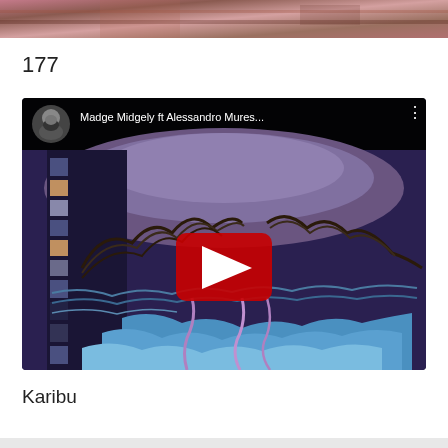[Figure (photo): Partial image at top of page showing colorful abstract or artistic background in pink, red, brown tones]
177
[Figure (screenshot): YouTube video embed showing 'Madge Midgely ft Alessandro Mures...' with a bearded man avatar, and a colorful psychedelic artwork of mountains and flowing landscape as thumbnail, with YouTube play button overlay]
Karibu